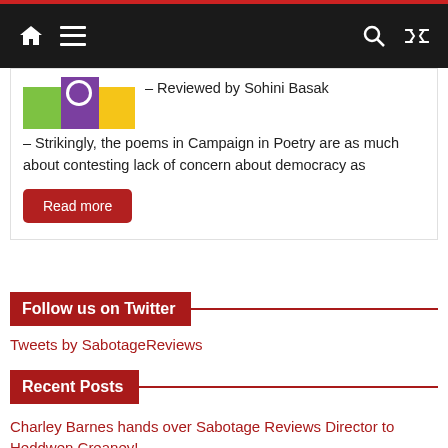Navigation bar with home, menu, search, and shuffle icons
– Reviewed by Sohini Basak – Strikingly, the poems in Campaign in Poetry are as much about contesting lack of concern about democracy as
Read more
Follow us on Twitter
Tweets by SabotageReviews
Recent Posts
Charley Barnes hands over Sabotage Reviews Director to Heddwen Creaney!